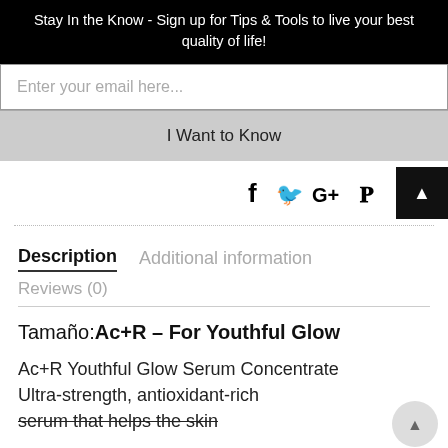Stay In the Know - Sign up for Tips & Tools to live your best quality of life!
Enter your email here...
I Want to Know
[Figure (screenshot): Social media icons: Facebook, Twitter, Google+, Pinterest]
Description | Additional information | Reviews (0)
Tamaño: Ac+R – For Youthful Glow
Ac+R Youthful Glow Serum Concentrate
Ultra-strength, antioxidant-rich serum that helps the skin look